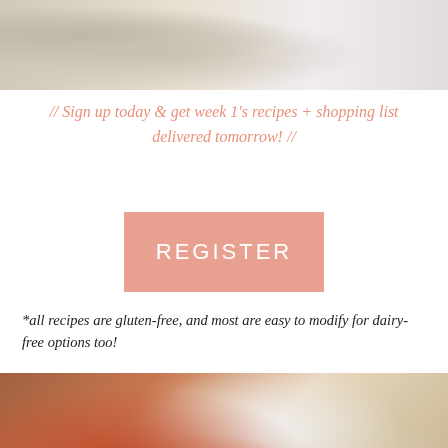[Figure (photo): Top portion of a food/lifestyle photo showing containers or jars on a light surface]
// Sign up today & get week 1's recipes + shopping list delivered tomorrow! //
REGISTER
*all recipes are gluten-free, and most are easy to modify for dairy-free options too!
[Figure (photo): Bottom food photo showing grilled meat/fish on white plates with a bowl of salad and a wooden spoon on a wooden table]